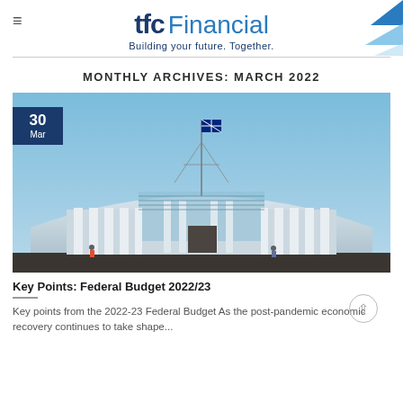tfc Financial – Building your future. Together.
MONTHLY ARCHIVES: MARCH 2022
[Figure (photo): Photograph of the Australian Parliament House building in Canberra, with a blue sky background and an Australian flag on top. A date badge in the upper left shows '30 Mar'.]
Key Points: Federal Budget 2022/23
Key points from the 2022-23 Federal Budget As the post-pandemic economic recovery continues to take shape...